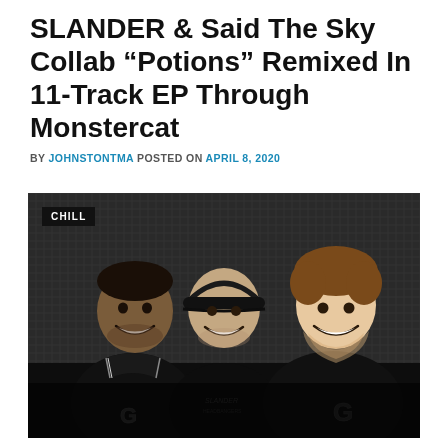SLANDER & Said The Sky Collab "Potions" Remixed In 11-Track EP Through Monstercat
BY JOHNSTONTMA POSTED ON APRIL 8, 2020
[Figure (photo): Three men smiling and posing together in front of a dark textured background. They are all wearing black jackets. The man on the left wears a black varsity-style jacket with a striped collar. The man in the middle wears a black cap and black t-shirt. The man on the right wears a black varsity jacket with a 'G' letter on the chest. A 'CHILL' badge appears in the top-left corner of the photo.]